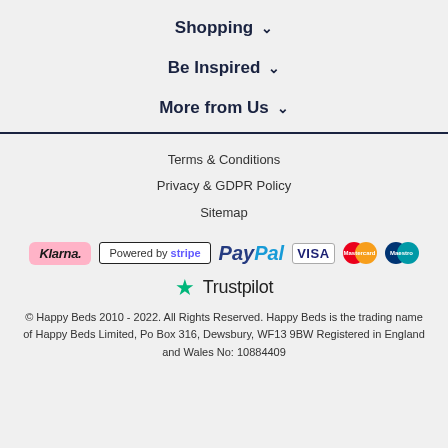Shopping ∨
Be Inspired ∨
More from Us ∨
Terms & Conditions
Privacy & GDPR Policy
Sitemap
[Figure (logo): Payment method logos: Klarna, Powered by Stripe, PayPal, VISA, Mastercard, Maestro]
[Figure (logo): Trustpilot logo with green star]
© Happy Beds 2010 - 2022. All Rights Reserved. Happy Beds is the trading name of Happy Beds Limited, Po Box 316, Dewsbury, WF13 9BW Registered in England and Wales No: 10884409